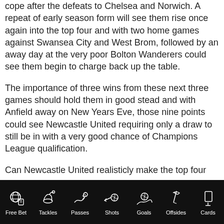cope after the defeats to Chelsea and Norwich. A repeat of early season form will see them rise once again into the top four and with two home games against Swansea City and West Brom, followed by an away day at the very poor Bolton Wanderers could see them begin to charge back up the table.
The importance of three wins from these next three games should hold them in good stead and with Anfield away on New Years Eve, those nine points could see Newcastle United requiring only a draw to still be in with a very good chance of Champions League qualification.
Can Newcastle United realisticly make the top four
[Figure (infographic): Dark footer navigation bar with white icons and labels: Free Bet (soccer ball with badge), Tackles (sliding tackle), Passes (boot with ball), Shots (ball with motion), Goals (ball with net), Offsides (flag), Cards (card/hand)]